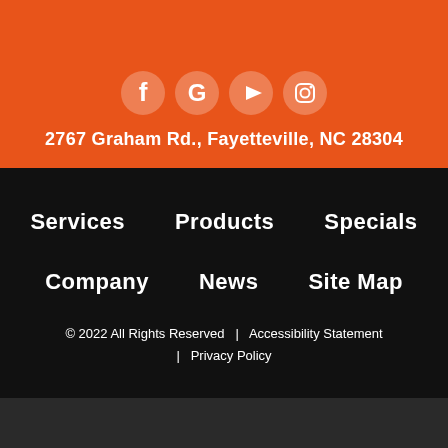[Figure (logo): Social media icons: Facebook, Google, YouTube, Instagram in white on orange background]
2767 Graham Rd., Fayetteville, NC 28304
Services    Products    Specials
Company    News    Site Map
© 2022 All Rights Reserved  |  Accessibility Statement  |  Privacy Policy